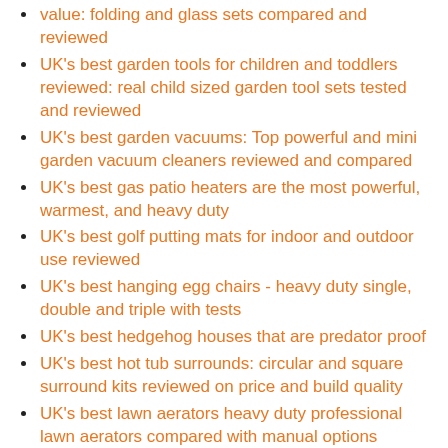value: folding and glass sets compared and reviewed
UK's best garden tools for children and toddlers reviewed: real child sized garden tool sets tested and reviewed
UK's best garden vacuums: Top powerful and mini garden vacuum cleaners reviewed and compared
UK's best gas patio heaters are the most powerful, warmest, and heavy duty
UK's best golf putting mats for indoor and outdoor use reviewed
UK's best hanging egg chairs - heavy duty single, double and triple with tests
UK's best hedgehog houses that are predator proof
UK's best hot tub surrounds: circular and square surround kits reviewed on price and build quality
UK's best lawn aerators heavy duty professional lawn aerators compared with manual options
UK's best lawn edging shears: Spear & Jackson, Fiskars, Wilkinson Sword
UK's best lawn mowers TESTED: Makita, Bosch, Flymo,